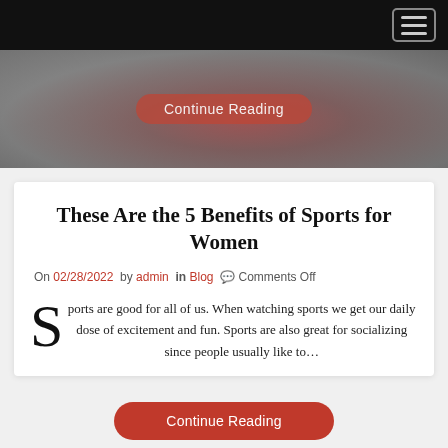[Figure (photo): Hero image showing hands holding a red ball or object, partially visible, with a 'Continue Reading' button overlay]
These Are the 5 Benefits of Sports for Women
On 02/28/2022  by admin  in Blog  Comments Off
Sports are good for all of us. When watching sports we get our daily dose of excitement and fun. Sports are also great for socializing since people usually like to…